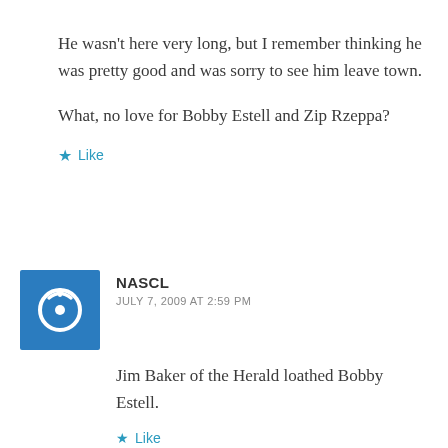He wasn't here very long, but I remember thinking he was pretty good and was sorry to see him leave town.
What, no love for Bobby Estell and Zip Rzeppa?
★ Like
NASCL
JULY 7, 2009 AT 2:59 PM
Jim Baker of the Herald loathed Bobby Estell.
★ Like